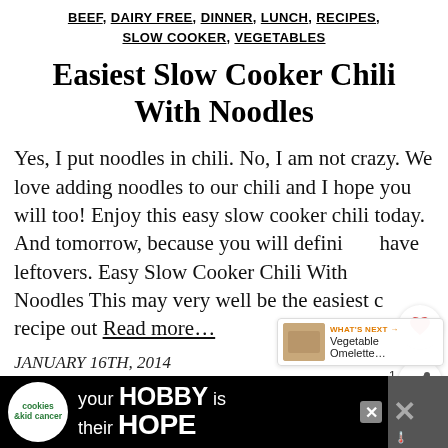BEEF, DAIRY FREE, DINNER, LUNCH, RECIPES, SLOW COOKER, VEGETABLES
Easiest Slow Cooker Chili With Noodles
Yes, I put noodles in chili. No, I am not crazy. We love adding noodles to our chili and I hope you will too! Enjoy this easy slow cooker chili today. And tomorrow, because you will definitely have leftovers. Easy Slow Cooker Chili With Noodles This may very well be the easiest c… recipe out Read more…
JANUARY 16TH, 2014
[Figure (screenshot): Advertisement banner: cookies by kid cancer logo, text 'your HOBBY is their HOPE' on dark background, with cookie heart image]